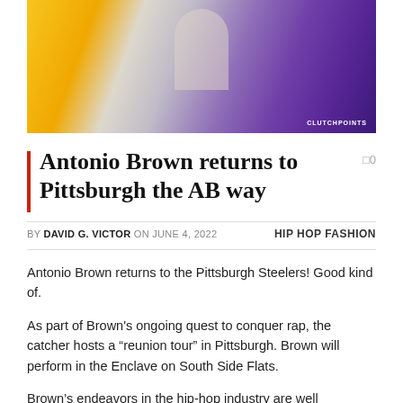[Figure (photo): Hero image of Antonio Brown wearing a denim jacket over a white outfit, with colorful background featuring yellow, pink, and purple tones. ClutchPoints watermark in lower right.]
Antonio Brown returns to Pittsburgh the AB way
BY DAVID G. VICTOR ON JUNE 4, 2022   HIP HOP FASHION
Antonio Brown returns to the Pittsburgh Steelers! Good kind of.
As part of Brown's ongoing quest to conquer rap, the catcher hosts a “reunion tour” in Pittsburgh. Brown will perform in the Enclave on South Side Flats.
Brown’s endeavors in the hip-hop industry are well documented at this point in his career. The ex-Steelers star has dabbled in